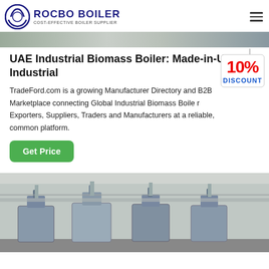ROCBO BOILER - COST-EFFECTIVE BOILER SUPPLIER
[Figure (photo): Top cropped photo strip showing industrial equipment]
UAE Industrial Biomass Boiler: Made-in-UAE Industrial
[Figure (infographic): 10% DISCOUNT badge/sticker overlaid on text]
TradeFord.com is a growing Manufacturer Directory and B2B Marketplace connecting Global Industrial Biomass Boiler Exporters, Suppliers, Traders and Manufacturers at a reliable, common platform.
[Figure (photo): Industrial boiler room with multiple stainless steel boiler units and piping]